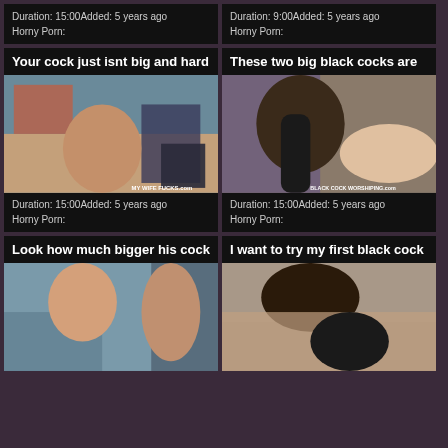Duration: 15:00Added: 5 years ago
Horny Porn:
Duration: 9:00Added: 5 years ago
Horny Porn:
Your cock just isnt big and hard
[Figure (photo): Adult content thumbnail with watermark MY WIFE FUCKS.com]
Duration: 15:00Added: 5 years ago
Horny Porn:
These two big black cocks are
[Figure (photo): Adult content thumbnail with watermark BLACK COCK WORSHIPING.com]
Duration: 15:00Added: 5 years ago
Horny Porn:
Look how much bigger his cock
[Figure (photo): Adult content thumbnail]
I want to try my first black cock
[Figure (photo): Adult content thumbnail]